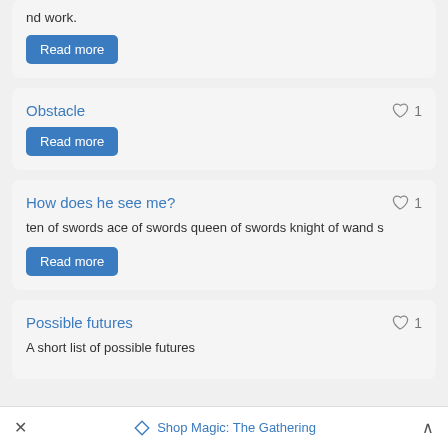nd work.
Read more
Obstacle
Read more
How does he see me?
ten of swords ace of swords queen of swords knight of wands
Read more
Possible futures
A short list of possible futures
× Shop Magic: The Gathering ∧